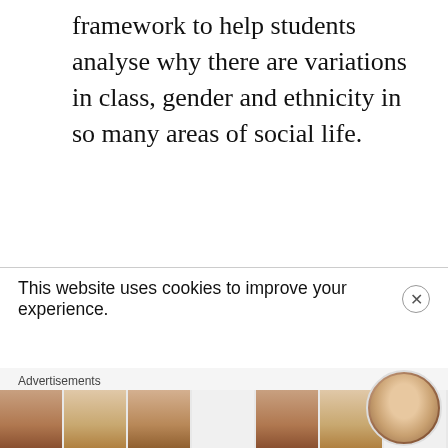framework to help students analyse why there are variations in class, gender and ethnicity in so many areas of social life.
This website uses cookies to improve your experience.
Advertisements
[Figure (photo): Advertisement banner with portrait photos of people and a circular avatar of a smiling woman in the bottom right corner]